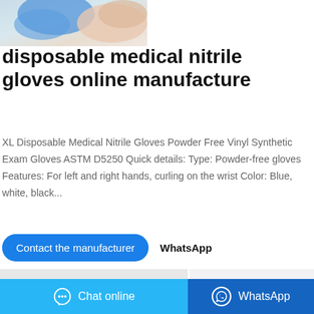[Figure (photo): Partial photo of person wearing blue nitrile gloves, cropped at top of page]
disposable medical nitrile gloves online manufacture
XL Disposable Medical Nitrile Gloves Powder Free Vinyl Synthetic Exam Gloves ASTM D5250 Quick details: Type: Powder-free gloves Features: For left and right hands, curling on the wrist Color: Blue, white, black...
Contact the manufacturer
WhatsApp
[Figure (photo): Black nitrile glove displayed against light background, showing full hand spread out]
Chat online
WhatsApp